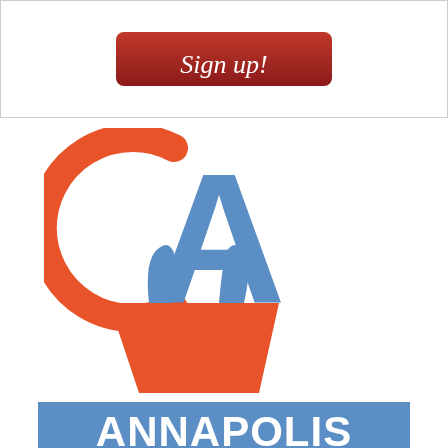[Figure (illustration): A red rounded-rectangle button with italic white text 'Sign up!' on a white background with a thin gray border box around it.]
[Figure (logo): C Annapolis logo: an orange letter C (partially forming a circle) overlapping a blue letter A, with an orange shopping bag below and blue handles, forming the CA monogram with a shopping bag.]
[Figure (logo): Blue rectangle banner with large bold white text 'ANNAPOLIS' partially visible at bottom.]